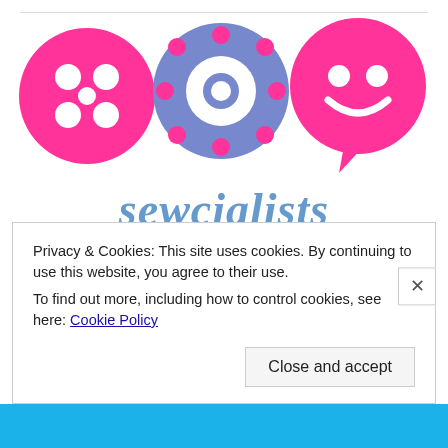[Figure (logo): Sewcialists logo: three circles in a row — left is pink with a button (four holes), center is periwinkle blue with a spool/reel design, right is pink speech bubble with a smiley face using two circles as eyes and a curved smile. Below the icons is the brand name 'sewcialists' in italic blue serif text.]
Privacy & Cookies: This site uses cookies. By continuing to use this website, you agree to their use.
To find out more, including how to control cookies, see here: Cookie Policy
Close and accept